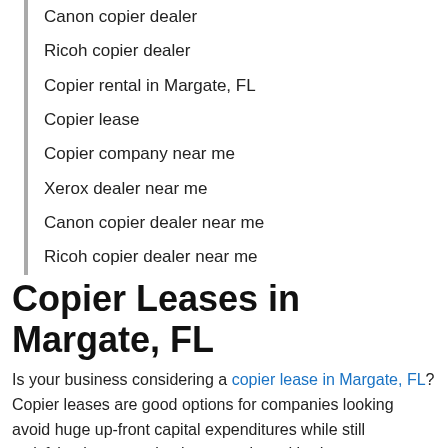Canon copier dealer
Ricoh copier dealer
Copier rental in Margate, FL
Copier lease
Copier company near me
Xerox dealer near me
Canon copier dealer near me
Ricoh copier dealer near me
Copier Leases in Margate, FL
Is your business considering a copier lease in Margate, FL? Copier leases are good options for companies looking avoid huge up-front capital expenditures while still satisfying long-term business goals and budgets. Refurbished copiers also great